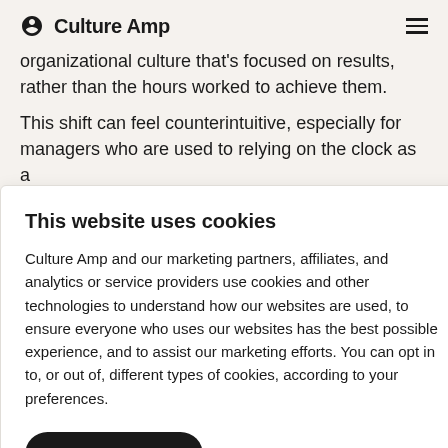Culture Amp
organizational culture that's focused on results, rather than the hours worked to achieve them.
This shift can feel counterintuitive, especially for managers who are used to relying on the clock as a
This website uses cookies
Culture Amp and our marketing partners, affiliates, and analytics or service providers use cookies and other technologies to understand how our websites are used, to ensure everyone who uses our websites has the best possible experience, and to assist our marketing efforts. You can opt in to, or out of, different types of cookies, according to your preferences.
Accept all cookies
Manage preferences